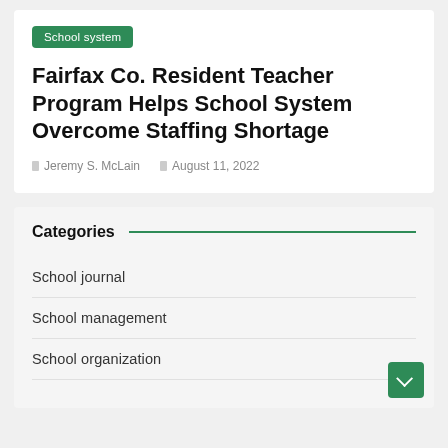School system
Fairfax Co. Resident Teacher Program Helps School System Overcome Staffing Shortage
Jeremy S. McLain   August 11, 2022
Categories
School journal
School management
School organization